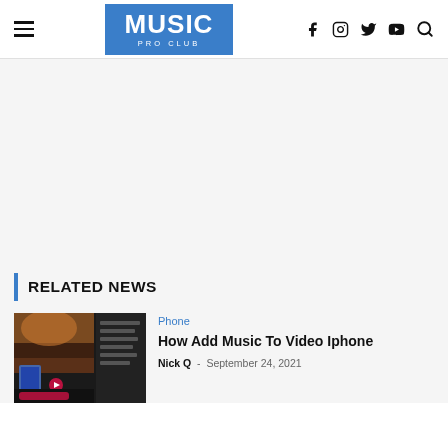MUSIC PRO CLUB
[Figure (other): Advertisement / blank ad space placeholder]
RELATED NEWS
[Figure (screenshot): Thumbnail image of a phone video editing app showing music addition to video on iPhone]
Phone
How Add Music To Video Iphone
Nick Q  -  September 24, 2021